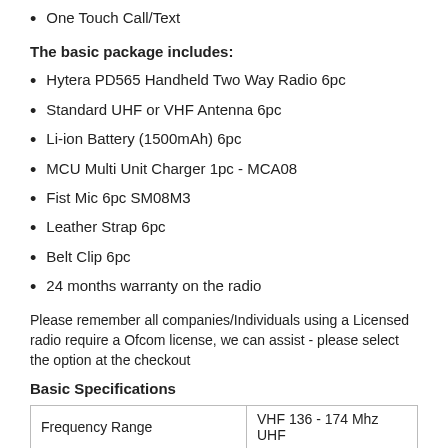One Touch Call/Text
The basic package includes:
Hytera PD565 Handheld Two Way Radio 6pc
Standard UHF or VHF Antenna 6pc
Li-ion Battery (1500mAh) 6pc
MCU Multi Unit Charger 1pc - MCA08
Fist Mic 6pc SM08M3
Leather Strap 6pc
Belt Clip 6pc
24 months warranty on the radio
Please remember all companies/Individuals using a Licensed radio require a Ofcom license, we can assist - please select the option at the checkout
Basic Specifications
| Frequency Range | VHF 136 - 174 Mhz UHF |